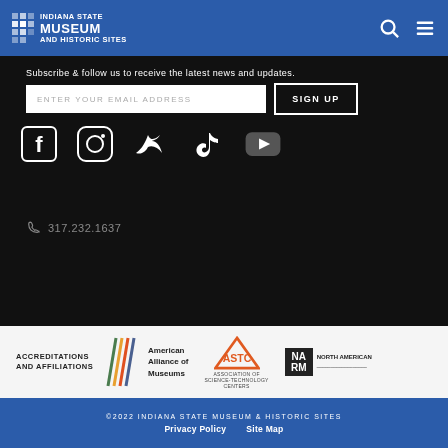[Figure (logo): Indiana State Museum and Historic Sites logo with grid icon, white text on blue bar]
Subscribe & follow us to receive the latest news and updates.
[Figure (other): Email subscription form with input field and SIGN UP button]
[Figure (other): Social media icons: Facebook, Instagram, Twitter, TikTok, YouTube]
317.232.1637
[Figure (other): Accreditations and Affiliations logos: American Alliance of Museums, ASTC, NARM North American]
©2022 INDIANA STATE MUSEUM & HISTORIC SITES | Privacy Policy | Site Map